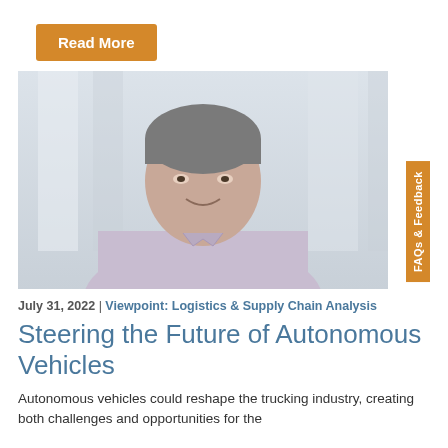Read More
[Figure (photo): Professional headshot of a middle-aged man with grey hair wearing a light pink/lavender dress shirt, smiling, in a bright office/indoor setting with blurred background]
FAQs & Feedback
July 31, 2022 | Viewpoint: Logistics & Supply Chain Analysis
Steering the Future of Autonomous Vehicles
Autonomous vehicles could reshape the trucking industry, creating both challenges and opportunities for the